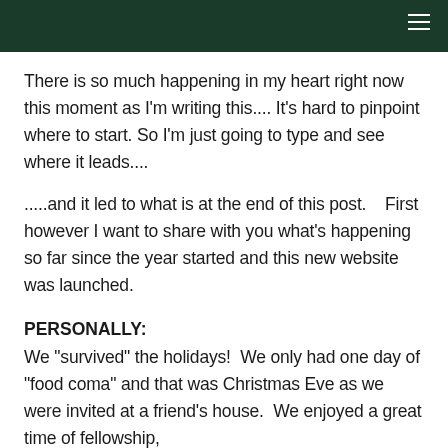There is so much happening in my heart right now this moment as I'm writing this.... It's hard to pinpoint where to start. So I'm just going to type and see where it leads....
.....and it led to what is at the end of this post.    First however I want to share with you what's happening so far since the year started and this new website was launched.
PERSONALLY:
We "survived" the holidays!  We only had one day of "food coma" and that was Christmas Eve as we were invited at a friend's house.  We enjoyed a great time of fellowship,